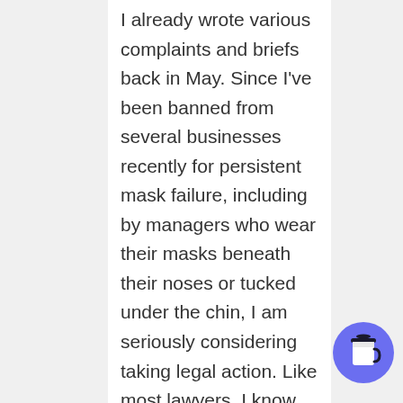I already wrote various complaints and briefs back in May. Since I've been banned from several businesses recently for persistent mask failure, including by managers who wear their masks beneath their noses or tucked under the chin, I am seriously considering taking legal action. Like most lawyers, I know what a PITA this will be, however, my local options are